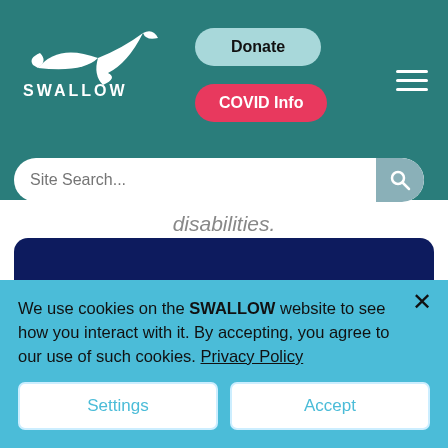[Figure (screenshot): SWALLOW charity website header with teal background, showing SWALLOW logo (bird illustration + text), Donate button, COVID Info button, hamburger menu icon, and site search bar]
disabilities.
[Figure (logo): SWALLOW logo on dark navy blue background — white swallow bird silhouette]
We use cookies on the SWALLOW website to see how you interact with it. By accepting, you agree to our use of such cookies. Privacy Policy
Settings
Accept